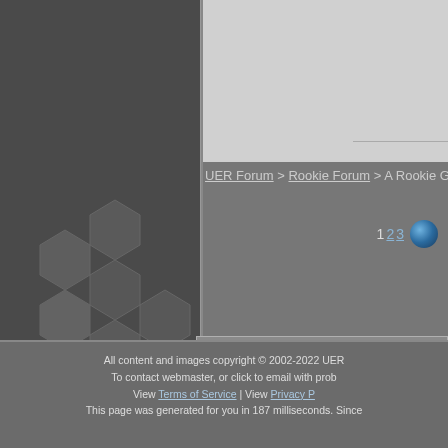[Figure (screenshot): Left sidebar with dark gray background featuring hexagonal pattern decorations]
[Figure (screenshot): Light gray top banner/header area with horizontal rule]
UER Forum > Rookie Forum > A Rookie Guide to using your UER
1 2 3
[Figure (illustration): Poll icon - document with checklist and blue plus sign, with text 'Add a poll this threa']
This thread is in a public ca
All content and images copyright © 2002-2022 UER
To contact webmaster, or click to email with prob
View Terms of Service | View Privacy P
This page was generated for you in 187 milliseconds. Since